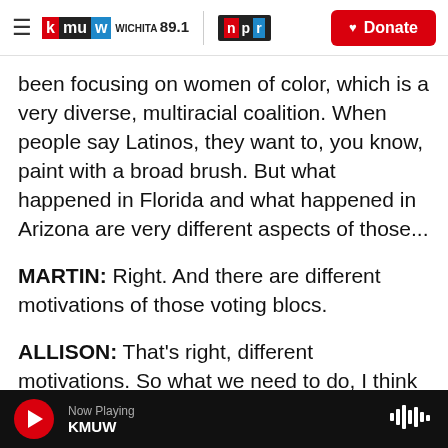KMUW Wichita 89.1 | NPR — Donate
been focusing on women of color, which is a very diverse, multiracial coalition. When people say Latinos, they want to, you know, paint with a broad brush. But what happened in Florida and what happened in Arizona are very different aspects of those...
MARTIN: Right. And there are different motivations of those voting blocs.
ALLISON: That's right, different motivations. So what we need to do, I think long term - and I think it's too early for this kind of post-mortem - is to
Now Playing KMUW